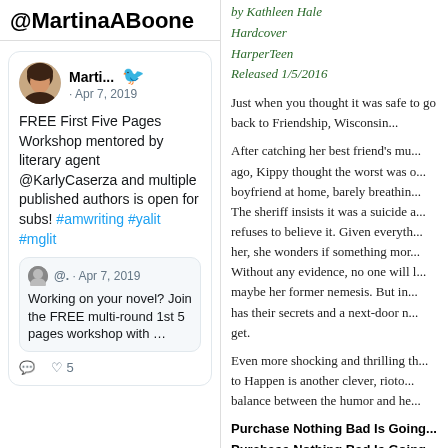@MartinaABoone
[Figure (screenshot): Embedded tweet from Marti... dated Apr 7, 2019 about FREE First Five Pages Workshop mentored by literary agent @KarlyCaserza and multiple published authors is open for subs! #amwriting #yalit #mglit, with a quoted tweet: Working on your novel? Join the FREE multi-round 1st 5 pages workshop with ...]
by Kathleen Hale
Hardcover
HarperTeen
Released 1/5/2016
Just when you thought it was safe to go back to Friendship, Wisconsin...
After catching her best friend's mu... ago, Kippy thought the worst was o... boyfriend at home, barely breathin... The sheriff insists it was a suicide a... refuses to believe it. Given everyth... her, she wonders if something mor... Without any evidence, no one will b... maybe her former nemesis. But in... has their secrets and a next-door n... get.
Even more shocking and thrilling th... to Happen is another clever, rioto... balance between the humor and he...
Purchase Nothing Bad Is Going...
Purchase Nothing Bad Is Going...
View Nothing Bad Is Going to Ha...